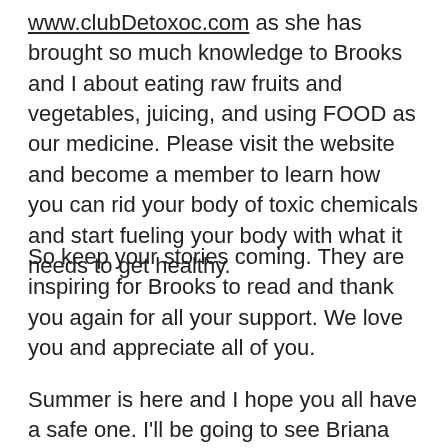www.clubDetoxoc.com as she has brought so much knowledge to Brooks and I about eating raw fruits and vegetables, juicing, and using FOOD as our medicine. Please visit the website and become a member to learn how you can rid your body of toxic chemicals and start fueling your body with what it needs to get healthy.
So keep your stories coming. They are inspiring for Brooks to read and thank you again for all your support. We love you and appreciate all of you.
Summer is here and I hope you all have a safe one. I'll be going to see Briana and my grandsons